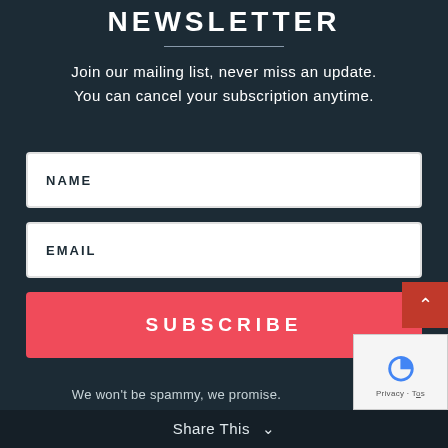NEWSLETTER
Join our mailing list, never miss an update. You can cancel your subscription anytime.
[Figure (other): NAME input field placeholder]
[Figure (other): EMAIL input field placeholder]
[Figure (other): SUBSCRIBE button in red]
We won't be spammy, we promise.
Share This